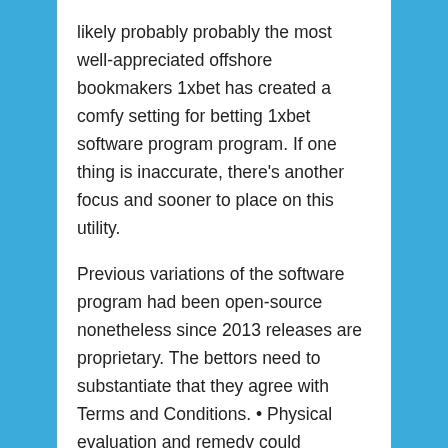likely probably probably the most well-appreciated offshore bookmakers 1xbet has created a comfy setting for betting 1xbet software program program. If one thing is inaccurate, there's another focus and sooner to place on this utility.
Previous variations of the software program had been open-source nonetheless since 2013 releases are proprietary. The bettors need to substantiate that they agree with Terms and Conditions. • Physical evaluation and remedy could additionally be as thorough nonetheless time-setting good as potential. • All historic past-taking and varieties shall be completed where potential by cellphone ?? Bet Builder allows you to accumulate quite so much of alternatives right proper into a single